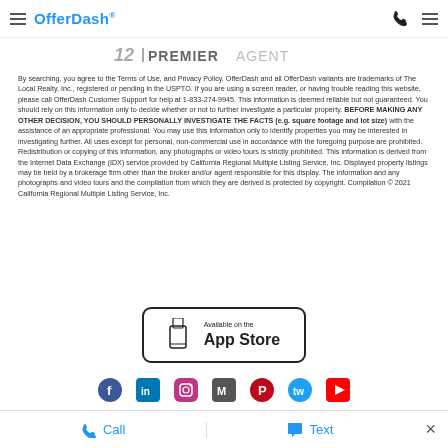OfferDash® navigation header with hamburger menus and phone icon
[Figure (logo): Zillow Premier Agent logo with stylized Z icon and PREMIERAGENT text]
By searching, you agree to the Terms of Use, and Privacy Policy. OfferDash and all OfferDash variants are trademarks of The Local Realty, Inc., registered or pending in the USPTO. If you are using a screen reader, or having trouble reading this website, please call OfferDash Customer Support for help at 1-833-274-9945. This information is deemed reliable but not guaranteed. You should rely on this information only to decide whether or not to further investigate a particular property. BEFORE MAKING ANY OTHER DECISION, YOU SHOULD PERSONALLY INVESTIGATE THE FACTS (e.g. square footage and lot size) with the assistance of an appropriate professional. You may use this information only to identify properties you may be interested in investigating further. All uses except for personal, non-commercial use in accordance with the foregoing purpose are prohibited. Redistribution or copying of this information, any photographs or video tours is strictly prohibited. This information is derived from the Internet Data Exchange (IDX) service provided by California Regional Multiple Listing Service, Inc. Displayed property listings may be held by a brokerage firm other than the broker and/or agent responsible for this display. The information and any photographs and video tours and the compilation from which they are derived is protected by copyright. Compilation © 2021 California Regional Multiple Listing Service, Inc.
[Figure (logo): Available on the App Store badge]
[Figure (infographic): Social media icons row: Facebook, LinkedIn, Instagram, Medium, Pinterest, Twitter, YouTube]
Call | Text | close button